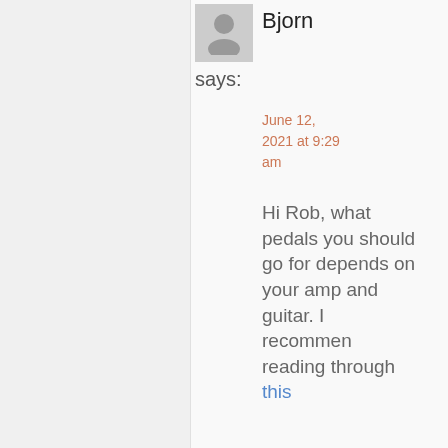[Figure (illustration): Default user avatar icon, gray square with silhouette of a person]
Bjorn
says:
June 12, 2021 at 9:29 am
Hi Rob, what pedals you should go for depends on your amp and guitar. I recommend reading through this